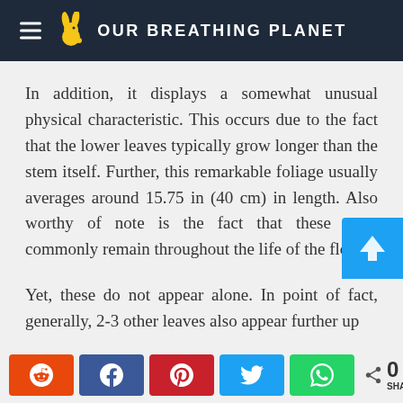OUR BREATHING PLANET
In addition, it displays a somewhat unusual physical characteristic. This occurs due to the fact that the lower leaves typically grow longer than the stem itself. Further, this remarkable foliage usually averages around 15.75 in (40 cm) in length. Also worthy of note is the fact that these most commonly remain throughout the life of the flower.
Yet, these do not appear alone. In point of fact, generally, 2-3 other leaves also appear further up
0 SHARES